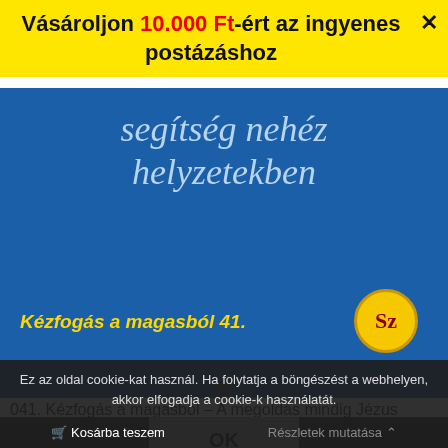Vásároljon 10.000 Ft-ért az ingyenes postázáshoz
[Figure (photo): Book cover with blue background showing text 'segítség nehéz helyzetekben' and 'Kézfogás a magasból 41.' with publisher logo]
041. Kézfogás a magasból – A megoldás mindig Jézus
Ez az oldal cookie-kat használ. Ha folytatja a böngészést a webhelyen, akkor elfogadja a cookie-k használatát.
OK
Kosárba teszem
Részletek mutatása